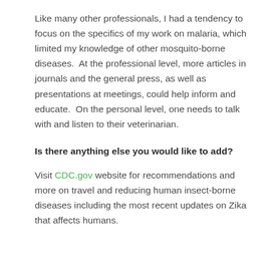Like many other professionals, I had a tendency to focus on the specifics of my work on malaria, which limited my knowledge of other mosquito-borne diseases.  At the professional level, more articles in journals and the general press, as well as presentations at meetings, could help inform and educate.  On the personal level, one needs to talk with and listen to their veterinarian.
Is there anything else you would like to add?
Visit CDC.gov website for recommendations and more on travel and reducing human insect-borne diseases including the most recent updates on Zika that affects humans.